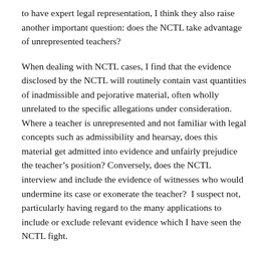to have expert legal representation, I think they also raise another important question: does the NCTL take advantage of unrepresented teachers?
When dealing with NCTL cases, I find that the evidence disclosed by the NCTL will routinely contain vast quantities of inadmissible and pejorative material, often wholly unrelated to the specific allegations under consideration.  Where a teacher is unrepresented and not familiar with legal concepts such as admissibility and hearsay, does this material get admitted into evidence and unfairly prejudice the teacher's position?  Conversely, does the NCTL interview and include the evidence of witnesses who would undermine its case or exonerate the teacher?  I suspect not, particularly having regard to the many applications to include or exclude relevant evidence which I have seen the NCTL fight.